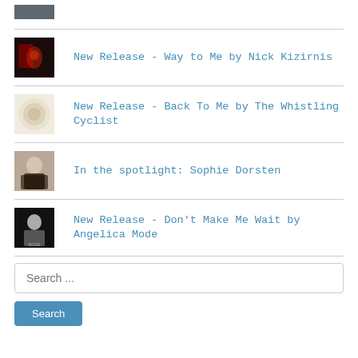[Figure (photo): Partial top thumbnail image, cropped at top of page]
New Release - Way to Me by Nick Kizirnis
New Release - Back To Me by The Whistling Cyclist
In the spotlight: Sophie Dorsten
New Release - Don't Make Me Wait by Angelica Mode
Search ...